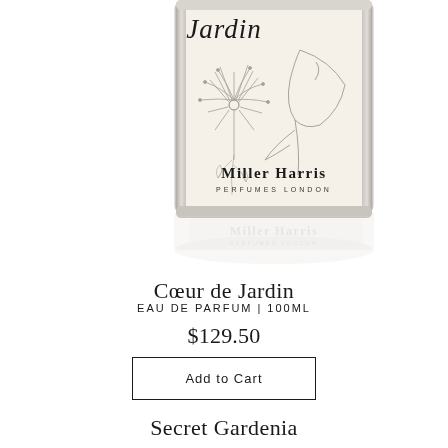[Figure (photo): Partial product shot of Miller Harris 'Coeur de Jardin' Eau de Parfum perfume bottle. The bottle has a transparent/frosted glass body with a silver/chrome rectangular frame. The label features delicate botanical line-art illustrations of plants and flowers, with 'Jardin' in cursive script at top, 'Miller Harris' in bold serif, and 'PERFUMES LONDON' in small caps. The bottle is shown cropped at the top and reflected below on a white surface.]
Cœur de Jardin
EAU DE PARFUM | 100ML
$129.50
Add to Cart
Secret Gardenia